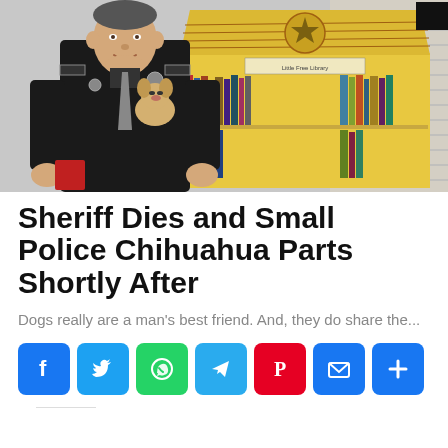[Figure (photo): A sheriff in black uniform holding a small Chihuahua dog, standing next to a yellow house-shaped Little Free Library filled with books. The library has a sheriff star seal on it.]
Sheriff Dies and Small Police Chihuahua Parts Shortly After
Dogs really are a man's best friend. And, they do share the...